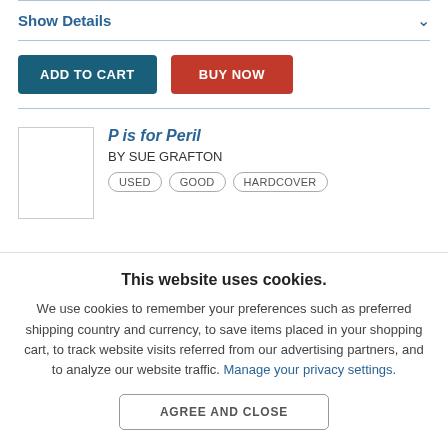Show Details
ADD TO CART
BUY NOW
P is for Peril
BY SUE GRAFTON
USED  GOOD  HARDCOVER
This website uses cookies.
We use cookies to remember your preferences such as preferred shipping country and currency, to save items placed in your shopping cart, to track website visits referred from our advertising partners, and to analyze our website traffic. Manage your privacy settings.
AGREE AND CLOSE